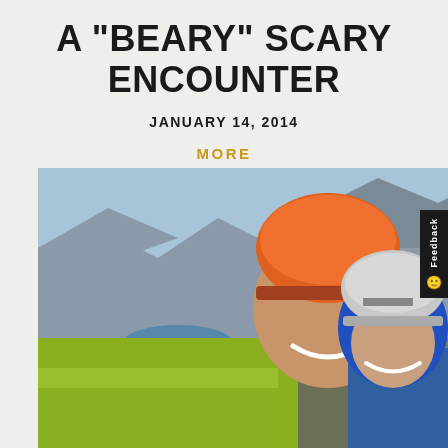A "BEARY" SCARY ENCOUNTER
JANUARY 14, 2014
MORE
[Figure (photo): Two rock climbers smiling at camera, selfie-style photo taken on a mountain summit. The man on the left wears a bright yellow-green jacket and an orange/red climbing helmet. The woman on the right wears a blue jacket and a silver Petzl climbing helmet. In the background are rocky mountain peaks and a blue alpine lake.]